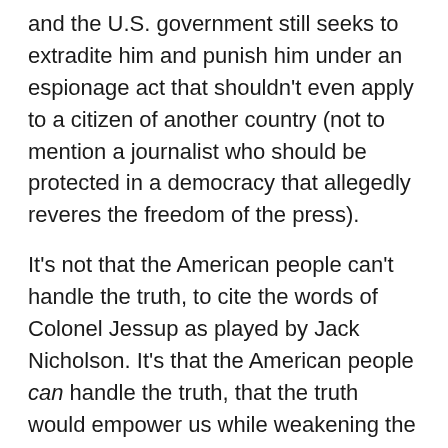and the U.S. government still seeks to extradite him and punish him under an espionage act that shouldn't even apply to a citizen of another country (not to mention a journalist who should be protected in a democracy that allegedly reveres the freedom of the press).
It's not that the American people can't handle the truth, to cite the words of Colonel Jessup as played by Jack Nicholson. It's that the American people can handle the truth, that the truth would empower us while weakening the powers-that-be and their various plots and privileges. That's why the truth is such a scarce commodity in Washington, D.C. It must be guarded while being massaged and manipulated before its fed to the masses as formless, often truthless, pabulum.
America's punishment of principled whistleblowers is yet another sign of the death of democracy in America. If President Biden wanted to do something important,